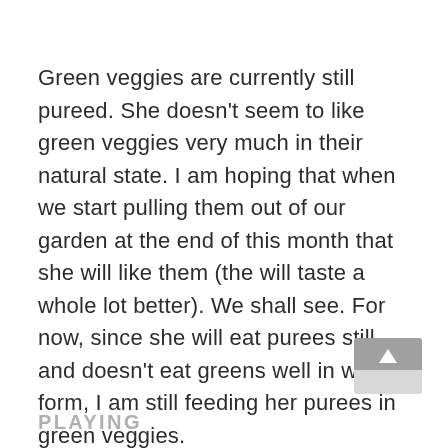Green veggies are currently still pureed. She doesn't seem to like green veggies very much in their natural state. I am hoping that when we start pulling them out of our garden at the end of this month that she will like them (the will taste a whole lot better). We shall see. For now, since she will eat purees still and doesn't eat greens well in whole form, I am still feeding her purees in green veggies.
PLAYING